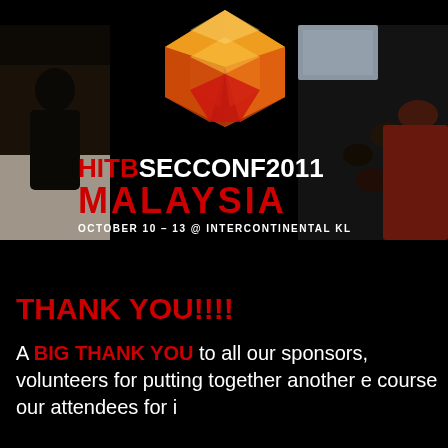[Figure (photo): HITB SECCONF 2011 Malaysia conference banner with 3D diamond logo in red/orange, flanked by photos of conference attendees. Text reads: HITBSECCONF2011 MALAYSIA, OCTOBER 10 - 13 @ INTERCONTINENTAL KL]
THANK YOU!!!!
A BIG THANK YOU to all our sponsors, volunteers for putting together another e... course our attendees for...